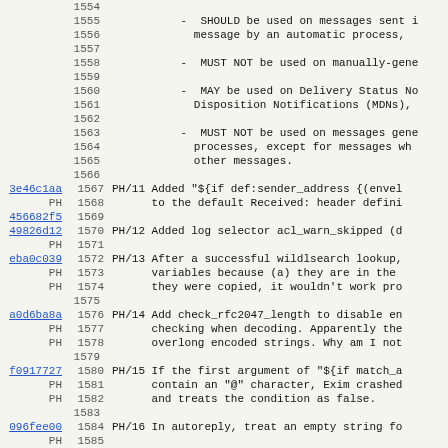Source code / changelog view with line numbers 1554-1585+
1554 (empty line)
1555 - SHOULD be used on messages sent i...
1556   message by an automatic process,
1557 (empty)
1558 - MUST NOT be used on manually-gene...
1559 (empty)
1560 - MAY be used on Delivery Status No...
1561   Disposition Notifications (MDNs),
1562 (empty)
1563 - MUST NOT be used on messages gene...
1564   processes, except for messages wh...
1565   other messages.
1566 (empty)
3e46c1aa PH 1567 PH/11 Added "${if def:sender_address {(envel...
PH 1568   to the default Received: header defini...
456682f5 1569 (empty)
49826d12 PH 1570 PH/12 Added log selector acl_warn_skipped (d...
PH 1571 (empty)
eba0c039 PH 1572 PH/13 After a successful wildlsearch lookup,...
PH 1573   variables because (a) they are in the...
PH 1574   they were copied, it wouldn't work pro...
1575 (empty)
a0d6ba8a PH 1576 PH/14 Add check_rfc2047_length to disable en...
PH 1577   checking when decoding. Apparently the...
PH 1578   overlong encoded strings. Why am I not...
1579 (empty)
f0917727 PH 1580 PH/15 If the first argument of "${if match_a...
PH 1581   contain an "@" character, Exim crashed...
PH 1582   and treats the condition as false.
1583 (empty)
096fee00 PH 1584 PH/16 In autoreply, treat an empty string fo...
PH 1585
024bd2a2 PH 1586 PH/17 A further patch from the Sieve mainta...